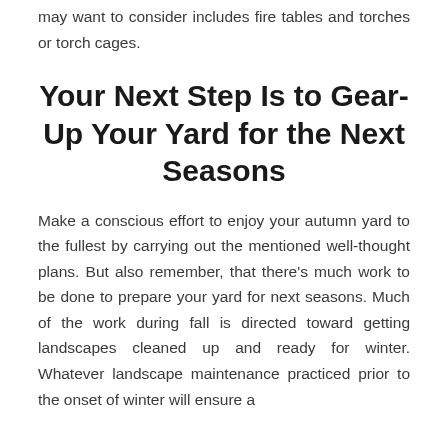may want to consider includes fire tables and torches or torch cages.
Your Next Step Is to Gear-Up Your Yard for the Next Seasons
Make a conscious effort to enjoy your autumn yard to the fullest by carrying out the mentioned well-thought plans. But also remember, that there's much work to be done to prepare your yard for next seasons. Much of the work during fall is directed toward getting landscapes cleaned up and ready for winter. Whatever landscape maintenance practiced prior to the onset of winter will ensure a